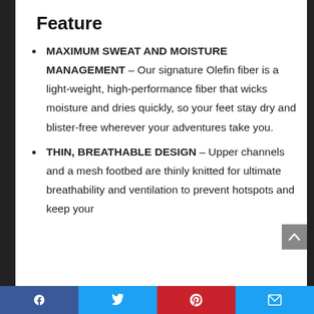Feature
MAXIMUM SWEAT AND MOISTURE MANAGEMENT – Our signature Olefin fiber is a light-weight, high-performance fiber that wicks moisture and dries quickly, so your feet stay dry and blister-free wherever your adventures take you.
THIN, BREATHABLE DESIGN – Upper channels and a mesh footbed are thinly knitted for ultimate breathability and ventilation to prevent hotspots and keep your
Facebook | Twitter | Pinterest | Email